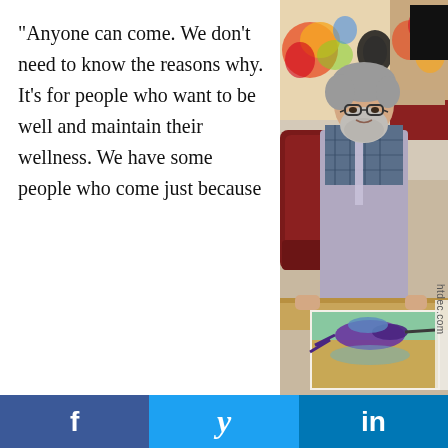“Anyone can come. We don’t need to know the reasons why. It’s for people who want to be well and maintain their wellness. We have some people who come just because
[Figure (photo): An older bearded man wearing glasses and a grey apron over a plaid shirt, standing at a wooden table displaying a painting of a hummingbird in an art studio with colorful artwork on the wall behind him.]
f  𝒛  in